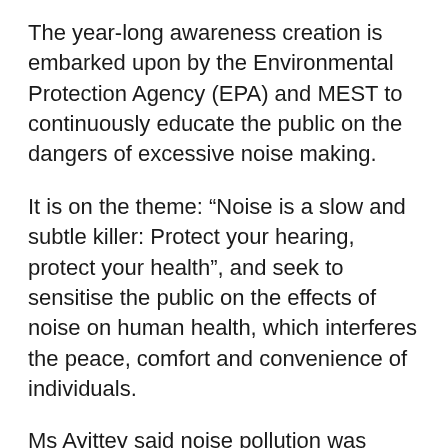The year-long awareness creation is embarked upon by the Environmental Protection Agency (EPA) and MEST to continuously educate the public on the dangers of excessive noise making.
It is on the theme: “Noise is a slow and subtle killer: Protect your hearing, protect your health”, and seek to sensitise the public on the effects of noise on human health, which interferes the peace, comfort and convenience of individuals.
Ms Ayittey said noise pollution was becoming a national concern, which must be tackled with the needed seriousness just like the efforts put in the fight against HIV and AIDS to protect people’s